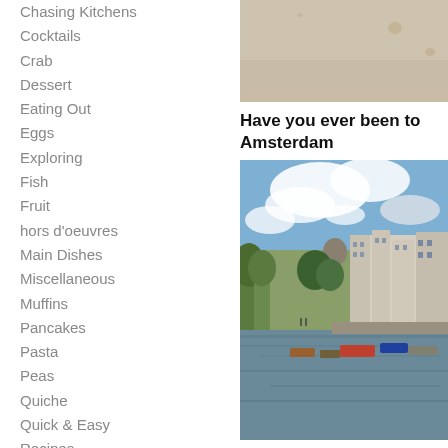Chasing Kitchens
Cocktails
Crab
Dessert
Eating Out
Eggs
Exploring
Fish
Fruit
hors d'oeuvres
Main Dishes
Miscellaneous
Muffins
Pancakes
Pasta
Peas
Quiche
Quick & Easy
Recipes
Salad
Sandwiches & Wraps
Savory Pies
Seafood
Sides
Smoothies
[Figure (photo): Top portion of a food photo with aged/stained paper background, beige tones]
Have you ever been to Amsterdam
[Figure (photo): Amsterdam canal scene with Dutch buildings along the water, boats moored, green trees, cloudy blue sky]